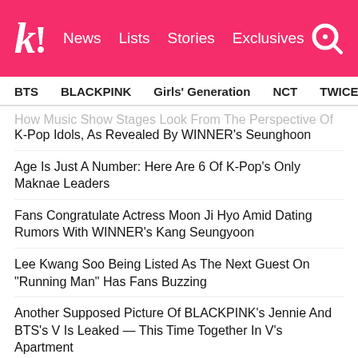Koreaboo! | News | Lists | Stories | Exclusives
BTS | BLACKPINK | Girls' Generation | NCT | TWICE | aespa
How Music Show Stages Look From The Perspective Of K-Pop Idols, As Revealed By WINNER's Seunghoon
Age Is Just A Number: Here Are 6 Of K-Pop's Only Maknae Leaders
Fans Congratulate Actress Moon Ji Hyo Amid Dating Rumors With WINNER's Kang Seungyoon
Lee Kwang Soo Being Listed As The Next Guest On "Running Man" Has Fans Buzzing
Another Supposed Picture Of BLACKPINK's Jennie And BTS's V Is Leaked — This Time Together In V's Apartment
NEXT ARTICLE
NCT's Johnny Kicked Taeil In